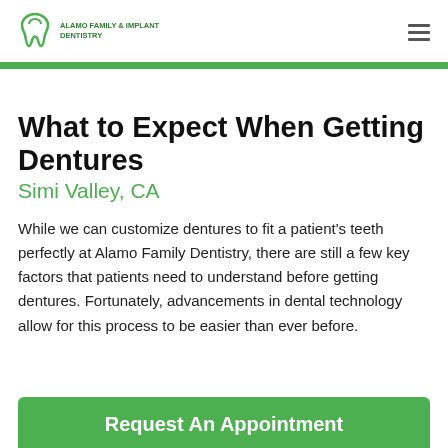[Figure (logo): Alamo Family & Implant Dentistry logo with green tooth icon and text]
What to Expect When Getting Dentures
Simi Valley, CA
While we can customize dentures to fit a patient's teeth perfectly at Alamo Family Dentistry, there are still a few key factors that patients need to understand before getting dentures. Fortunately, advancements in dental technology allow for this process to be easier than ever before.
Request An Appointment